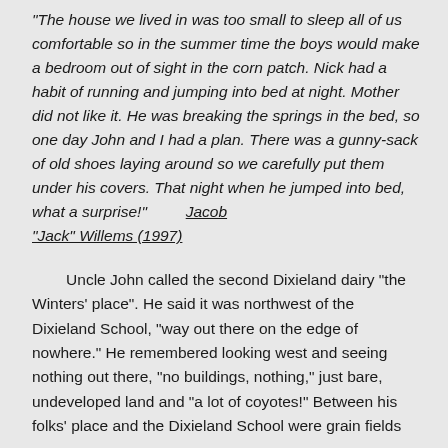“The house we lived in was too small to sleep all of us comfortable so in the summer time the boys would make a bedroom out of sight in the corn patch. Nick had a habit of running and jumping into bed at night. Mother did not like it. He was breaking the springs in the bed, so one day John and I had a plan. There was a gunny-sack of old shoes laying around so we carefully put them under his covers. That night when he jumped into bed, what a surprise!”  Jacob “Jack” Willems (1997)
Uncle John called the second Dixieland dairy “the Winters’ place”. He said it was northwest of the Dixieland School, “way out there on the edge of nowhere.” He remembered looking west and seeing nothing out there, “no buildings, nothing,” just bare, undeveloped land and “a lot of coyotes!” Between his folks’ place and the Dixieland School were grain fields